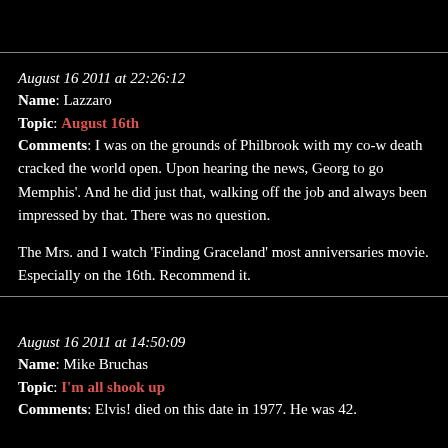August 16 2011 at 22:26:12
Name: Lazzaro
Topic: August 16th
Comments: I was on the grounds of Philbrook with my co-w death cracked the world open. Upon hearing the news, Georg to go Memphis'. And he did just that, walking off the job and always been impressed by that. There was no question.

The Mrs. and I watch 'Finding Graceland' most anniversaries movie. Especially on the 16th. Recommend it.
August 16 2011 at 14:50:09
Name: Mike Bruchas
Topic: I'm all shook up
Comments: Elvis! died on this date in 1977. He was 42.